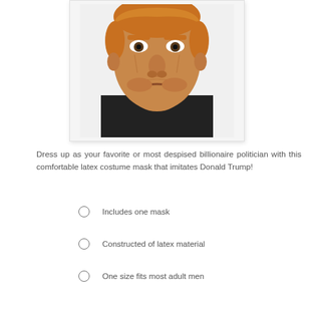[Figure (photo): A latex costume mask resembling Donald Trump, showing a face with orange-tinted skin, blond hair, and a stern expression, worn over a black turtleneck.]
Dress up as your favorite or most despised billionaire politician with this comfortable latex costume mask that imitates Donald Trump!
Includes one mask
Constructed of latex material
One size fits most adult men